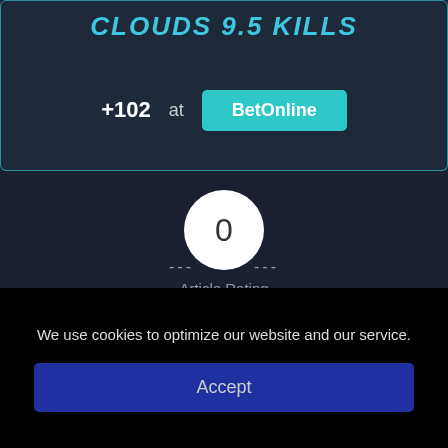CLOUDS 9.5 KILLS
+102 at BetOnline
[Figure (infographic): Rating circle showing 0 with dashes on either side, Article Rating label, and 5 star rating icons below]
Article Rating
Tags: Featured, League of Legends, Mid-Season Invitational,
We use cookies to optimize our website and our service.
Accept